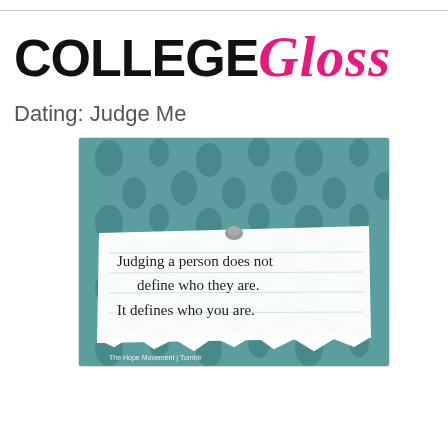COLLEGE GLOSS
Dating: Judge Me
[Figure (photo): Photo of a handwritten note pinned to a decorative teal damask background. The note reads: 'Judging a person does not define who they are. It defines who you are.' with a small caption 'The Hope Movement | Tumblr']